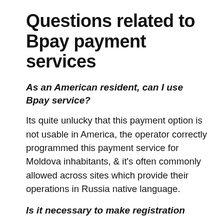Questions related to Bpay payment services
As an American resident, can I use Bpay service?
Its quite unlucky that this payment option is not usable in America, the operator correctly programmed this payment service for Moldova inhabitants, & it's often commonly allowed across sites which provide their operations in Russia native language.
Is it necessary to make registration